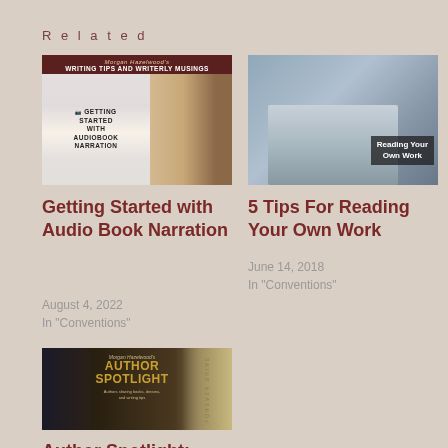Related
[Figure (photo): Thumbnail image for 'Getting Started with Audio Book Narration' blog post by Morgan Hazelwood, showing a banner with headphones and a woman's photo]
[Figure (photo): Thumbnail image for '5 Tips For Reading Your Own Work' video, showing a woman smiling with text overlay 'Reading Your Own Work']
Getting Started with Audio Book Narration
5 Tips For Reading Your Own Work
August 4, 2022
In "Conventions"
June 14, 2018
In "Conventions"
[Figure (photo): Thumbnail image for 'Author Spotlight' blog post by Morgan Hazelwood, showing a book cover with gold text on dark background]
Author Spotlight: